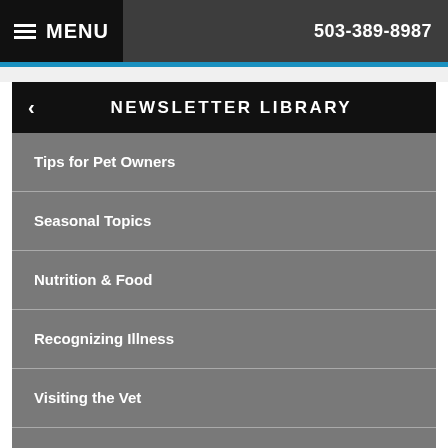MENU  503-389-8987
NEWSLETTER LIBRARY
Tips for Pet Owners
Seasonal Topics
Nutrition & Food
Recognizing Illness
Visiting the Vet
Equine
Cats